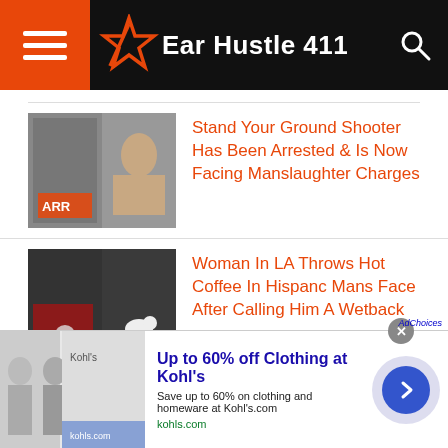Ear Hustle 411
Stand Your Ground Shooter Has Been Arrested & Is Now Facing Manslaughter Charges
Woman In LA Throws Hot Coffee In Hispanc Mans Face After Calling Him A Wetback
Melania Trump Used Her Visa That Her Husband Opposed For Others To Get
Up to 60% off Clothing at Kohl's
Save up to 60% on clothing and homeware at Kohl's.com
kohls.com